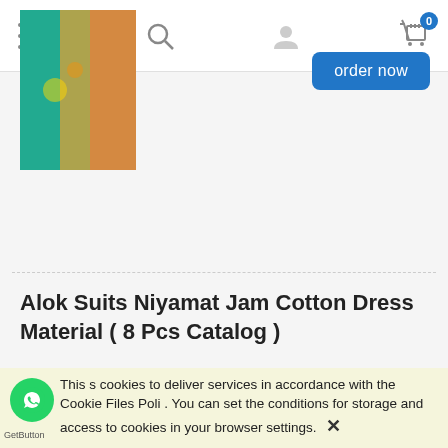Navigation bar with menu, search, user, and cart (0) icons
[Figure (photo): Product image of a teal/green Indian saree with embroidery and orange dupatta]
order now
Alok Suits Niyamat Jam Cotton Dress Material ( 8 Pcs Catalog )
[Figure (photo): Product image of an olive/green Indian salwar suit with red dupatta, model wearing it]
₹ 7,520.00
( 1 pcs = ₹ 940.00 )
excl. 5% TAX, excl. shipping costs
order now
This uses cookies to deliver services in accordance with the Cookie Files Policy. You can set the conditions for storage and access to cookies in your browser settings. ✕